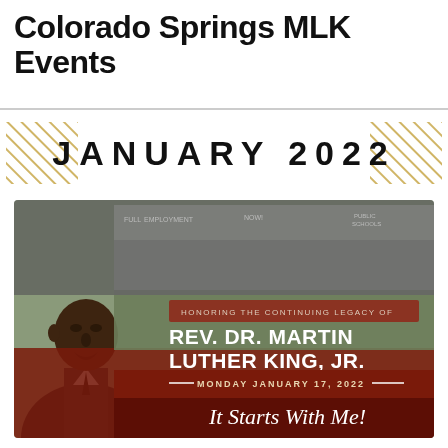Colorado Springs MLK Events
JANUARY 2022
[Figure (illustration): MLK Day event banner showing Rev. Dr. Martin Luther King Jr. in foreground in black and white, civil rights march crowd in background, with text: HONORING THE CONTINUING LEGACY OF REV. DR. MARTIN LUTHER KING, JR. MONDAY JANUARY 17, 2022 — It Starts With Me!]